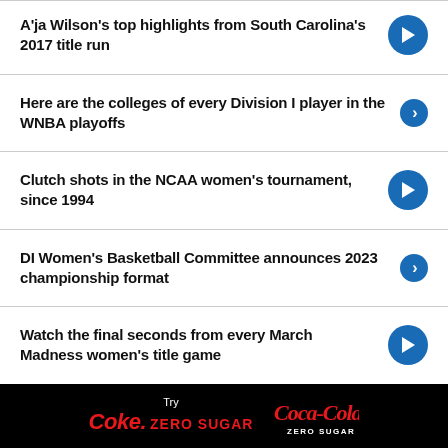A'ja Wilson's top highlights from South Carolina's 2017 title run
Here are the colleges of every Division I player in the WNBA playoffs
Clutch shots in the NCAA women's tournament, since 1994
DI Women's Basketball Committee announces 2023 championship format
Watch the final seconds from every March Madness women's title game
[Figure (logo): Coca-Cola Zero Sugar advertisement banner with 'Try Coke Zero Sugar' text and Coca-Cola Zero Sugar logo on black background]